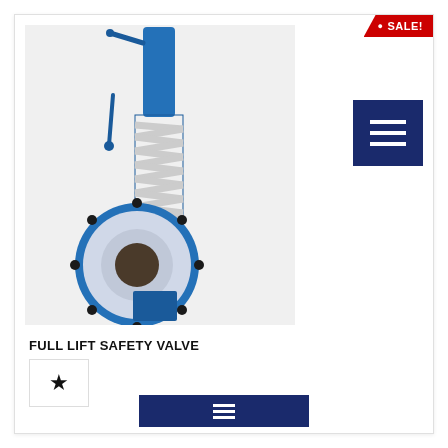[Figure (photo): Blue full lift safety valve with spring coil mechanism and flanged outlet, photographed on light gray background]
• SALE!
[Figure (other): Dark navy blue square button with three horizontal white lines (hamburger menu icon)]
FULL LIFT SAFETY VALVE
[Figure (other): Star icon inside a bordered box (rating/favorite button)]
[Figure (other): Dark navy blue rectangular button at bottom of card]